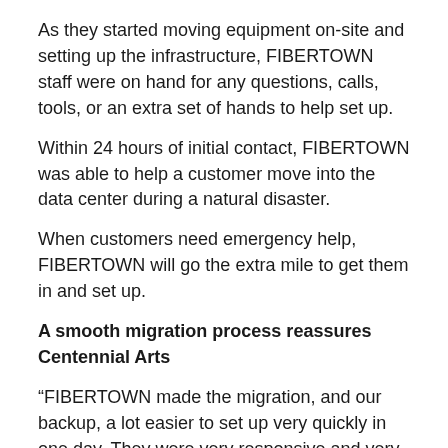As they started moving equipment on-site and setting up the infrastructure, FIBERTOWN staff were on hand for any questions, calls, tools, or an extra set of hands to help set up.
Within 24 hours of initial contact, FIBERTOWN was able to help a customer move into the data center during a natural disaster.
When customers need emergency help, FIBERTOWN will go the extra mile to get them in and set up.
A smooth migration process reassures Centennial Arts
“FIBERTOWN made the migration, and our backup, a lot easier to set up very quickly in one day. They were very responsive and very helpful. They just made things happen,” remarked Hanna.
The team worked continuously to transition to a zero downtime electrical grid with reserve generators and UPS systems.